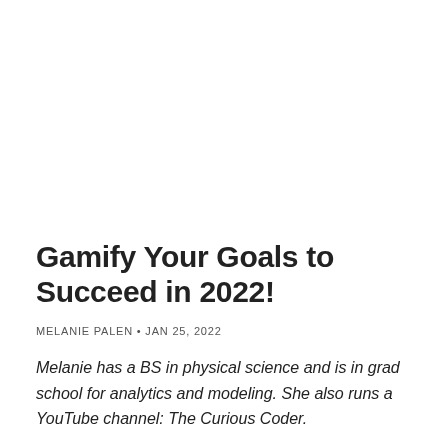Gamify Your Goals to Succeed in 2022!
MELANIE PALEN • JAN 25, 2022
Melanie has a BS in physical science and is in grad school for analytics and modeling. She also runs a YouTube channel: The Curious Coder.